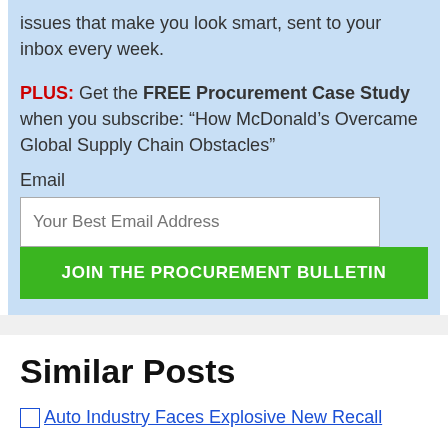issues that make you look smart, sent to your inbox every week.
PLUS: Get the FREE Procurement Case Study when you subscribe: “How McDonald’s Overcame Global Supply Chain Obstacles”
Email
Your Best Email Address
JOIN THE PROCUREMENT BULLETIN
Similar Posts
Auto Industry Faces Explosive New Recall
News | North America | Regions